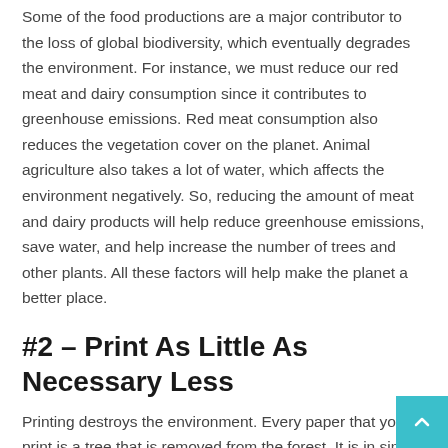Some of the food productions are a major contributor to the loss of global biodiversity, which eventually degrades the environment. For instance, we must reduce our red meat and dairy consumption since it contributes to greenhouse emissions. Red meat consumption also reduces the vegetation cover on the planet. Animal agriculture also takes a lot of water, which affects the environment negatively. So, reducing the amount of meat and dairy products will help reduce greenhouse emissions, save water, and help increase the number of trees and other plants. All these factors will help make the planet a better place.
#2 – Print As Little As Necessary Less
Printing destroys the environment. Every paper that you print is a tree that is removed from the forest. It is in simple terms the destruction of the forest. If you print less and print when necessary, you will reduce the demand for papers. That means fewer trees will be cut, and that's plus to the environment. So, the level of deforestation will start reducing hence more trees and other plants. When the vegetation cover increases, the carbon